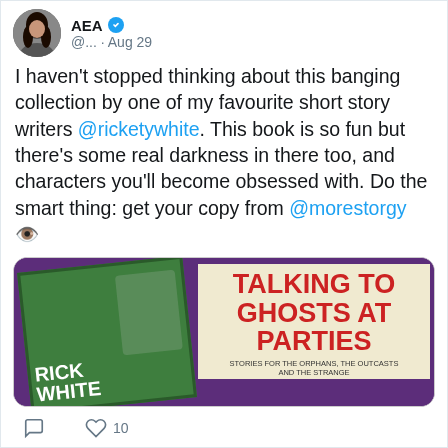[Figure (screenshot): Twitter/X user avatar - woman with dark hair]
@... · Aug 29
I haven't stopped thinking about this banging collection by one of my favourite short story writers @ricketywhite. This book is so fun but there's some real darkness in there too, and characters you'll become obsessed with. Do the smart thing: get your copy from @morestorgy 👁️
[Figure (photo): Book cover for 'Talking to Ghosts at Parties' by Rick White, with red text on cream background, set against purple background]
10